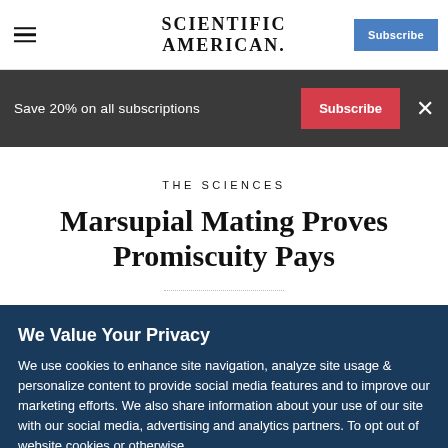SCIENTIFIC AMERICAN
Save 20% on all subscriptions  Subscribe  ×
THE SCIENCES
Marsupial Mating Proves Promiscuity Pays
We Value Your Privacy
We use cookies to enhance site navigation, analyze site usage & personalize content to provide social media features and to improve our marketing efforts. We also share information about your use of our site with our social media, advertising and analytics partners. To opt out of website cookies or otherwise...